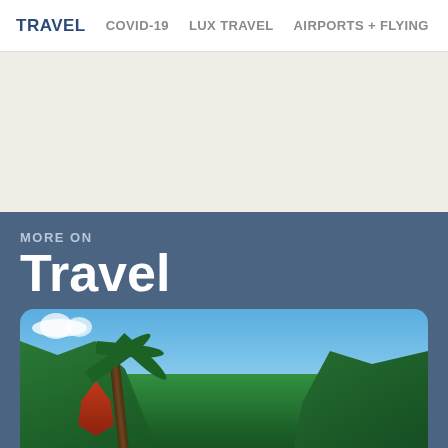TRAVEL   COVID-19   LUX TRAVEL   AIRPORTS + FLYING
[Figure (other): Advertisement placeholder area with beige/cream background]
MORE ON
Travel
[Figure (photo): Tropical scene with palm trees, lush green foliage, and blue sky with white clouds]